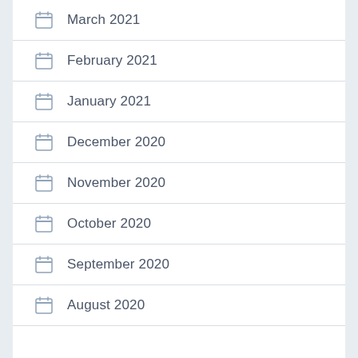March 2021
February 2021
January 2021
December 2020
November 2020
October 2020
September 2020
August 2020